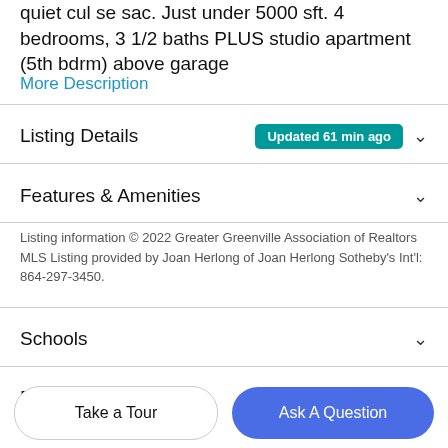quiet cul se sac. Just under 5000 sft. 4 bedrooms, 3 1/2 baths PLUS studio apartment (5th bdrm) above garage
More Description
Listing Details  Updated 61 min ago
Features & Amenities
Listing information © 2022 Greater Greenville Association of Realtors MLS Listing provided by Joan Herlong of Joan Herlong Sotheby's Int'l: 864-297-3450.
Schools
Payment Calculator
Take a Tour
Ask A Question